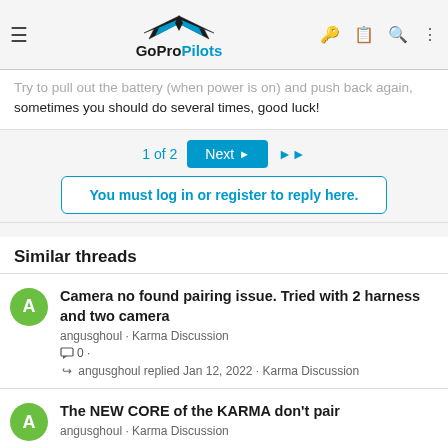GoProPilots
Try to pull out the battery (when power is on) and push back again, sometimes you should do several times, good luck!
1 of 2  Next  ▶▶
You must log in or register to reply here.
Similar threads
Camera no found pairing issue. Tried with 2 harness and two camera
angusghoul · Karma Discussion
0 ·
angusghoul replied Jan 12, 2022 · Karma Discussion
The NEW CORE of the KARMA don't pair
angusghoul · Karma Discussion